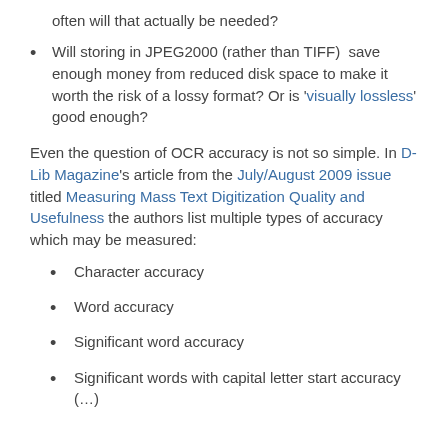often will that actually be needed?
Will storing in JPEG2000 (rather than TIFF)  save enough money from reduced disk space to make it worth the risk of a lossy format? Or is ‘visually lossless’ good enough?
Even the question of OCR accuracy is not so simple. In D-Lib Magazine’s article from the July/August 2009 issue titled Measuring Mass Text Digitization Quality and Usefulness the authors list multiple types of accuracy which may be measured:
Character accuracy
Word accuracy
Significant word accuracy
Significant words with capital letter start accuracy (…)